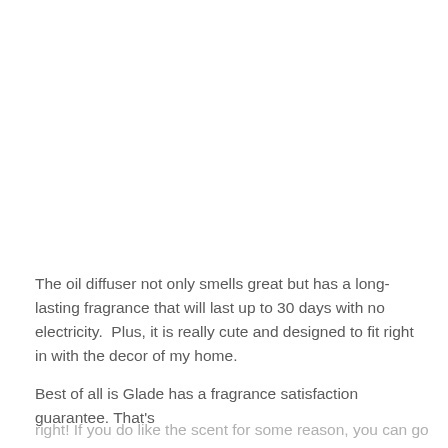The oil diffuser not only smells great but has a long-lasting fragrance that will last up to 30 days with no electricity.  Plus, it is really cute and designed to fit right in with the decor of my home.
Best of all is Glade has a fragrance satisfaction guarantee. That's
right! If you do like the scent for some reason, you can go